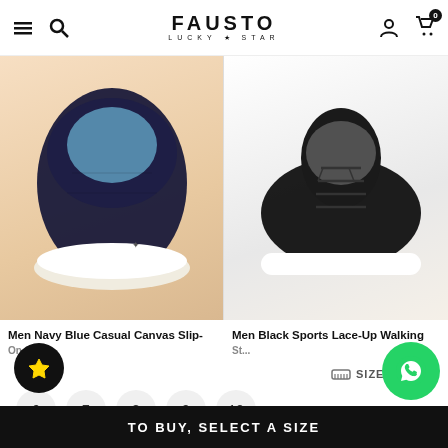FAUSTO LUCKY STAR
[Figure (photo): Men Navy Blue Casual Canvas Slip-On shoe product image on beige background]
[Figure (photo): Men Black Sports Lace-Up Walking shoe product image on white background]
Men Navy Blue Casual Canvas Slip-On St...
Men Black Sports Lace-Up Walking St...
SIZE: 6
SIZE CHART
6
7
8
9
10
TO BUY, SELECT A SIZE